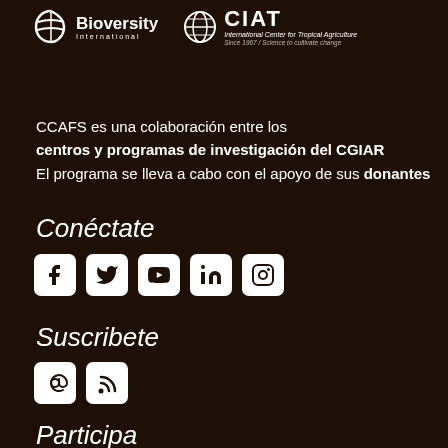[Figure (logo): Bioversity International logo with leaf/plant icon in white on dark brown background]
[Figure (logo): CIAT logo - International Center for Tropical Agriculture, Since 1967 / Science to cultivate change, globe icon in white]
CCAFS es una colaboración entre los centros y programas de investigación del CGIAR El programa se lleva a cabo con el apoyo de sus donantes
Conéctate
[Figure (illustration): Social media icons row: Facebook, Twitter, YouTube, LinkedIn, Instagram - white icons in white rounded square boxes]
Suscribete
[Figure (illustration): Subscribe icons: email (@) and RSS feed icons in white rounded square boxes]
Participa
Carreras y convocatorias
Contáctanos